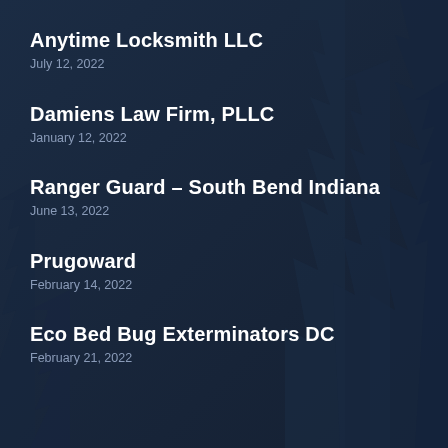Anytime Locksmith LLC
July 12, 2022
Damiens Law Firm, PLLC
January 12, 2022
Ranger Guard – South Bend Indiana
June 13, 2022
Prugoward
February 14, 2022
Eco Bed Bug Exterminators DC
February 21, 2022